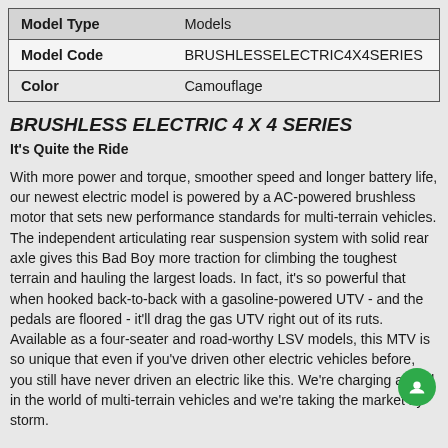| Model Type | Models |
| --- | --- |
| Model Code | BRUSHLESSELECTRIC4X4SERIES |
| Color | Camouflage |
BRUSHLESS ELECTRIC 4 X 4 SERIES
It's Quite the Ride
With more power and torque, smoother speed and longer battery life, our newest electric model is powered by a AC-powered brushless motor that sets new performance standards for multi-terrain vehicles. The independent articulating rear suspension system with solid rear axle gives this Bad Boy more traction for climbing the toughest terrain and hauling the largest loads. In fact, it's so powerful that when hooked back-to-back with a gasoline-powered UTV - and the pedals are floored - it'll drag the gas UTV right out of its ruts. Available as a four-seater and road-worthy LSV models, this MTV is so unique that even if you've driven other electric vehicles before, you still have never driven an electric like this. We're charging ahead in the world of multi-terrain vehicles and we're taking the market by storm.